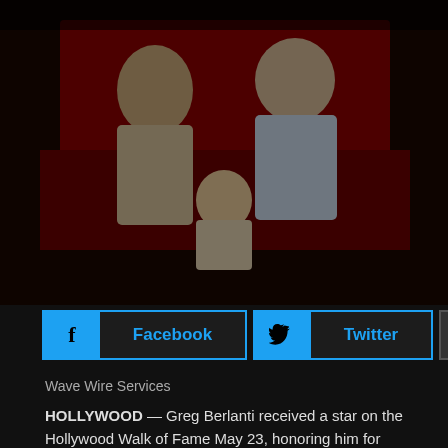[Figure (photo): Photo of people including Greg Berlanti at Hollywood Walk of Fame ceremony, with red backdrop, people in white suits]
[Figure (infographic): Social sharing buttons: Facebook and Twitter (blue buttons) and a plus/more button]
Wave Wire Services
HOLLYWOOD — Greg Berlanti received a star on the Hollywood Walk of Fame May 23, honoring him for producing such television shows as "Dawson's Creek," "Everwood," "Brothers & Sisters" and "Arrow."
"I'm sure I'm not the first person to receive a star who feels shocked or undeserving or overwhelmed with gratitude, but